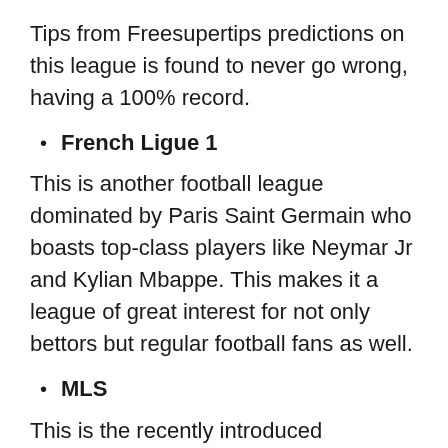Tips from Freesupertips predictions on this league is found to never go wrong, having a 100% record.
French Ligue 1
This is another football league dominated by Paris Saint Germain who boasts top-class players like Neymar Jr and Kylian Mbappe. This makes it a league of great interest for not only bettors but regular football fans as well.
MLS
This is the recently introduced American soccer league which is slowly gaining traction through the signing of